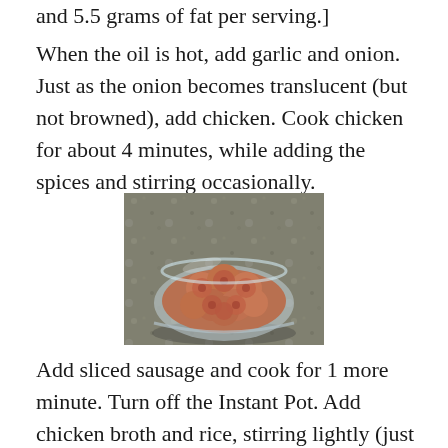and 5.5 grams of fat per serving.]
When the oil is hot, add garlic and onion. Just as the onion becomes translucent (but not browned), add chicken. Cook chicken for about 4 minutes, while adding the spices and stirring occasionally.
[Figure (photo): A glass bowl filled with sliced sausage rounds on a granite countertop.]
Add sliced sausage and cook for 1 more minute. Turn off the Instant Pot. Add chicken broth and rice, stirring lightly (just enough to ensure the rice is completely covered by liquid). Do not stir once covered. Put the